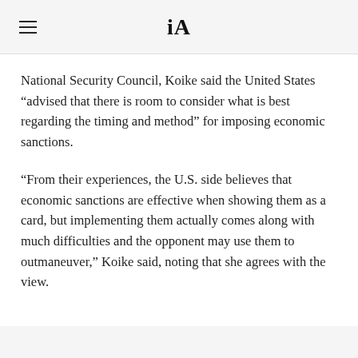iA
National Security Council, Koike said the United States “advised that there is room to consider what is best regarding the timing and method” for imposing economic sanctions.
“From their experiences, the U.S. side believes that economic sanctions are effective when showing them as a card, but implementing them actually comes along with much difficulties and the opponent may use them to outmaneuver,” Koike said, noting that she agrees with the view.